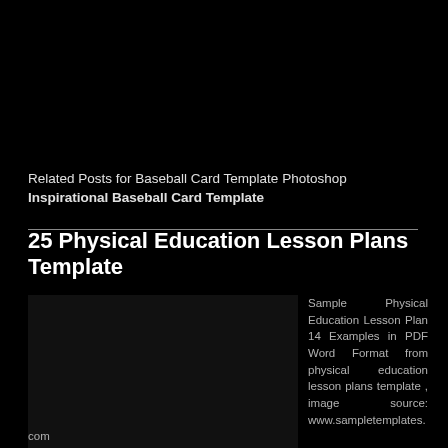Related Posts for Baseball Card Template Photoshop Inspirational Baseball Card Template
25 Physical Education Lesson Plans Template
[Figure (photo): Dark/black image placeholder on left side]
Sample Physical Education Lesson Plan 14 Examples in PDF Word Format from physical education lesson plans template , image source: www.sampletemplates.com